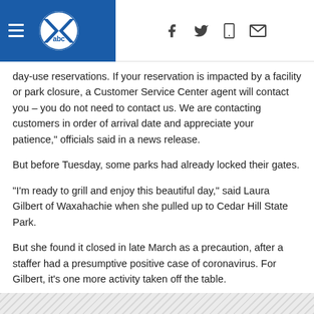WFAA ABC news header with navigation icons (facebook, twitter, mobile, mail)
day-use reservations. If your reservation is impacted by a facility or park closure, a Customer Service Center agent will contact you – you do not need to contact us. We are contacting customers in order of arrival date and appreciate your patience," officials said in a news release.
But before Tuesday, some parks had already locked their gates.
"I'm ready to grill and enjoy this beautiful day," said Laura Gilbert of Waxahachie when she pulled up to Cedar Hill State Park.
But she found it closed in late March as a precaution, after a staffer had a presumptive positive case of coronavirus. For Gilbert, it's one more activity taken off the table.